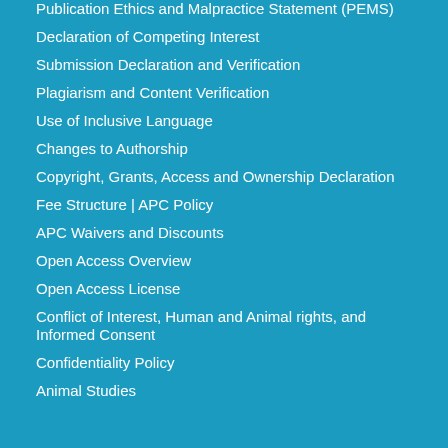Publication Ethics and Malpractice Statement (PEMS)
Declaration of Competing Interest
Submission Declaration and Verification
Plagiarism and Content Verification
Use of Inclusive Language
Changes to Authorship
Copyright, Grants, Access and Ownership Declaration
Fee Structure | APC Policy
APC Waivers and Discounts
Open Access Overview
Open Access License
Conflict of Interest, Human and Animal rights, and Informed Consent
Confidentiality Policy
Animal Studies